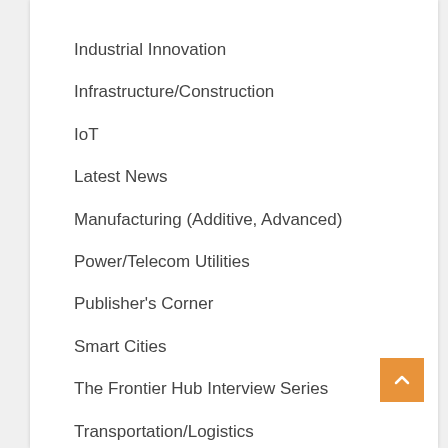Industrial Innovation
Infrastructure/Construction
IoT
Latest News
Manufacturing (Additive, Advanced)
Power/Telecom Utilities
Publisher's Corner
Smart Cities
The Frontier Hub Interview Series
Transportation/Logistics
Water Management